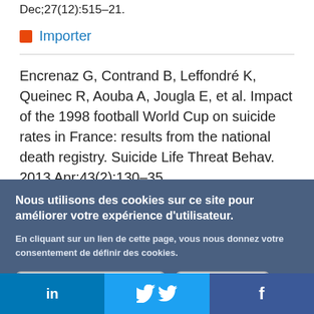Dec;27(12):515–21.
Importer
Encrenaz G, Contrand B, Leffondré K, Queinec R, Aouba A, Jougla E, et al. Impact of the 1998 football World Cup on suicide rates in France: results from the national death registry. Suicide Life Threat Behav. 2013 Apr;43(2):130–35.
Nous utilisons des cookies sur ce site pour améliorer votre expérience d'utilisateur.
En cliquant sur un lien de cette page, vous nous donnez votre consentement de définir des cookies.
Oui, je suis d'accord
Plus d'infos